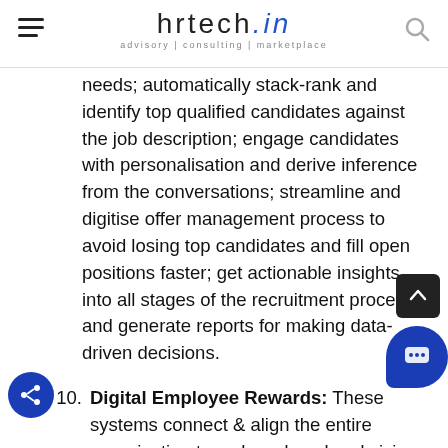hrtech.in — advisory | consulting | marketplace
needs; automatically stack-rank and identify top qualified candidates against the job description; engage candidates with personalisation and derive inference from the conversations; streamline and digitise offer management process to avoid losing top candidates and fill open positions faster; get actionable insights into all stages of the recruitment process and generate reports for making data-driven decisions.
10. Digital Employee Rewards: These systems connect & align the entire organization to a shared goal and vision. Automating the employee rewards, incentives & benefits program removes enormous manual costs and errors in managing large scale incentive